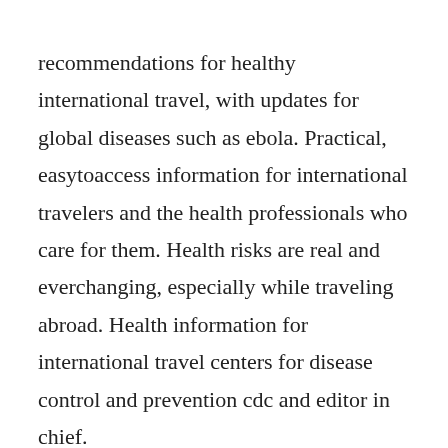recommendations for healthy international travel, with updates for global diseases such as ebola. Practical, easytoaccess information for international travelers and the health professionals who care for them. Health risks are real and everchanging, especially while traveling abroad. Health information for international travel centers for disease control and prevention cdc and editor in chief.
Updated edition of ultimate guide for healthy travel obscures the fact that lyme is a worldwide concern. The yellow book is used